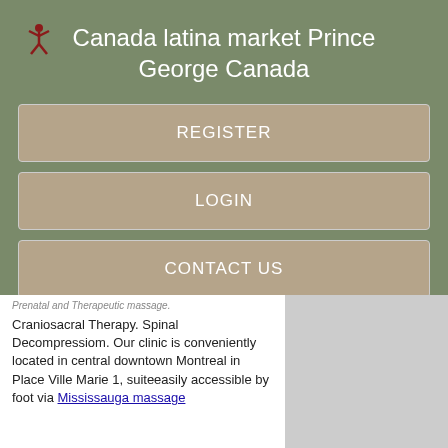Canada latina market Prince George Canada
REGISTER
LOGIN
CONTACT US
Prenatal and Therapeutic massage.
Craniosacral Therapy. Spinal Decompressiom. Our clinic is conveniently located in central downtown Montreal in Place Ville Marie 1, suiteeasily accessible by foot via Mississauga massage